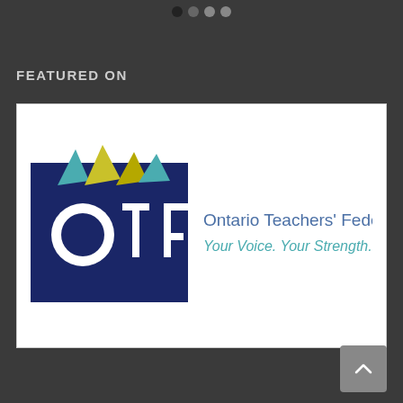[Figure (other): Four navigation dots at top center, first dot dark, remaining three lighter gray]
FEATURED ON
[Figure (logo): Ontario Teachers' Federation (OTF) logo: dark navy square with large white OTF letters and colored leaf/book design above, beside text 'Ontario Teachers' Federation' and tagline 'Your Voice. Your Strength.' in teal/blue]
[Figure (other): Scroll-to-top button, gray square with upward chevron arrow, bottom right corner]